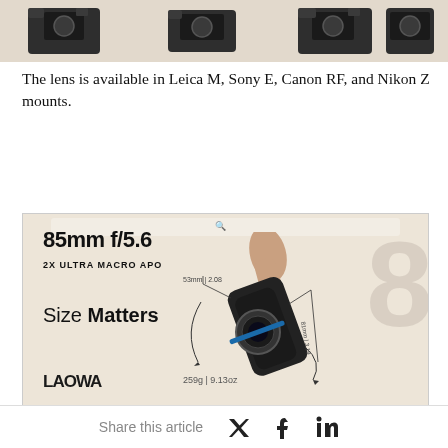[Figure (photo): Top-down silhouette views of four camera bodies with different lens mounts (Leica M, Sony E, Canon RF, Nikon Z) shown against a beige/cream background.]
The lens is available in Leica M, Sony E, Canon RF, and Nikon Z mounts.
[Figure (photo): Laowa 85mm f/5.6 2X Ultra Macro APO product advertisement image. Shows a hand holding a compact black lens with dimension callouts: 53mm | 2.08, 81mm | 3.19, and weight 259g | 9.13oz. Text reads 'Size Matters'. Laowa logo in bottom left. Large '8' numeral watermark in background.]
The lens weighs in at just 252g / 8.89 oz (Leica M mount without caps and hood) which is super portable and handy for macro
Share this article